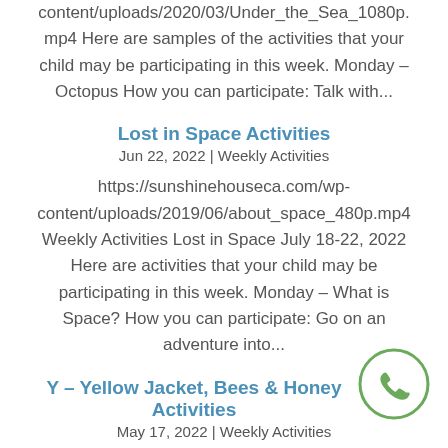content/uploads/2020/03/Under_the_Sea_1080p.mp4 Here are samples of the activities that your child may be participating in this week. Monday – Octopus How you can participate: Talk with...
Lost in Space Activities
Jun 22, 2022 | Weekly Activities
https://sunshinehouseca.com/wp-content/uploads/2019/06/about_space_480p.mp4 Weekly Activities Lost in Space July 18-22, 2022 Here are activities that your child may be participating in this week. Monday – What is Space? How you can participate: Go on an adventure into...
Y – Yellow Jacket, Bees & Honey Activities
May 17, 2022 | Weekly Activities